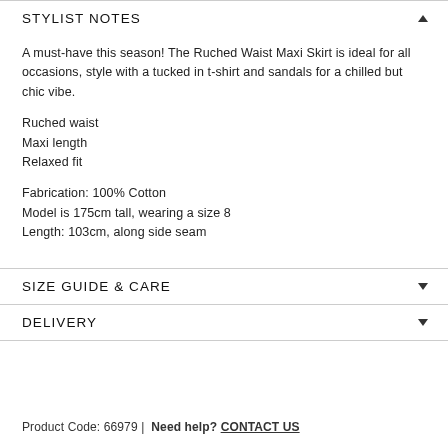STYLIST NOTES
A must-have this season! The Ruched Waist Maxi Skirt is ideal for all occasions, style with a tucked in t-shirt and sandals for a chilled but chic vibe.
Ruched waist
Maxi length
Relaxed fit
Fabrication:  100% Cotton
Model is 175cm tall, wearing a size 8
Length:  103cm, along side seam
SIZE GUIDE & CARE
DELIVERY
Product Code: 66979  |  Need help? CONTACT US